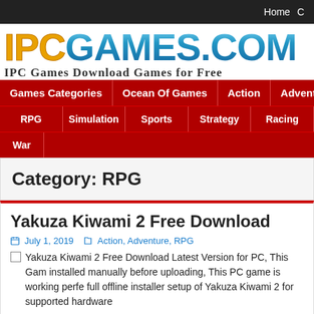Home
[Figure (logo): IPCGAMES.COM logo with gold IPC and blue GAMES.COM text]
IPC Games Download Games for Free
Games Categories | Ocean Of Games | Action | Adventure | RPG | Simulation | Sports | Strategy | Racing | War
Category: RPG
Yakuza Kiwami 2 Free Download
July 1, 2019  Action, Adventure, RPG
Yakuza Kiwami 2 Free Download Latest Version for PC, This Game was installed manually before uploading, This PC game is working perfectly full offline installer setup of Yakuza Kiwami 2 for supported hardware